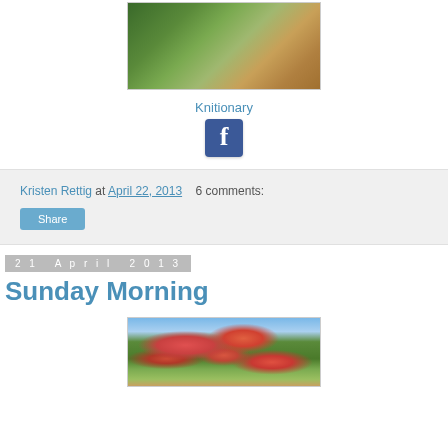[Figure (photo): Close-up photo of leafy greens on a silver/metal spoon on a wooden surface]
Knitionary
[Figure (logo): Facebook logo icon - blue square with white 'f']
Kristen Rettig at April 22, 2013   6 comments:
Share
21 April 2013
Sunday Morning
[Figure (photo): Photo of fruit tree (appears to have red/orange fruits like crab apples or similar) with blue sky background]